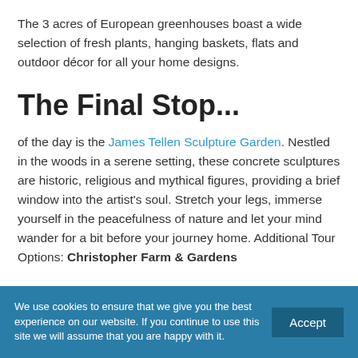The 3 acres of European greenhouses boast a wide selection of fresh plants, hanging baskets, flats and outdoor décor for all your home designs.
The Final Stop...
of the day is the James Tellen Sculpture Garden. Nestled in the woods in a serene setting, these concrete sculptures are historic, religious and mythical figures, providing a brief window into the artist's soul. Stretch your legs, immerse yourself in the peacefulness of nature and let your mind wander for a bit before your journey home. Additional Tour Options: Christopher Farm & Gardens
We use cookies to ensure that we give you the best experience on our website. If you continue to use this site we will assume that you are happy with it.